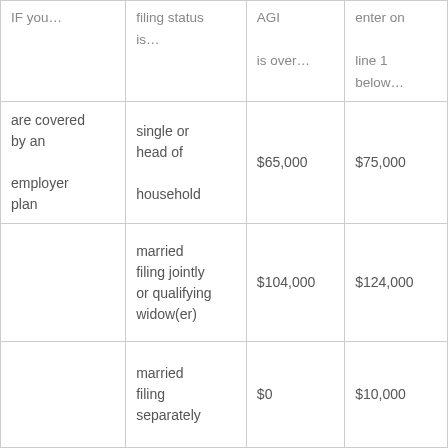| IF you... | filing status is... | AGI is over... | enter on line 1 below... |
| --- | --- | --- | --- |
| are covered by an employer plan | single or head of household | $65,000 | $75,000 |
|  | married filing jointly or qualifying widow(er) | $104,000 | $124,000 |
|  | married filing separately | $0 | $10,000 |